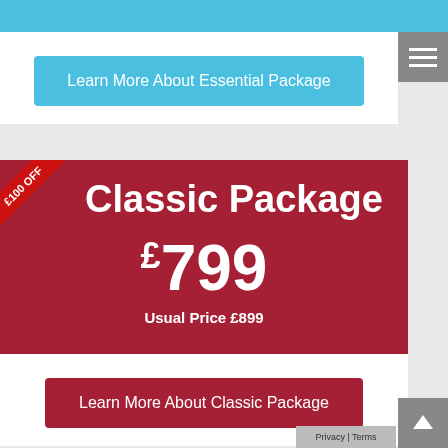[Figure (screenshot): Top blue navigation bar]
[Figure (screenshot): Hamburger menu icon (three white lines on grey background)]
Learn More About Essential Package
Classic Package
£100 OFF
£799
Usual Price £899
Learn More About Classic Package